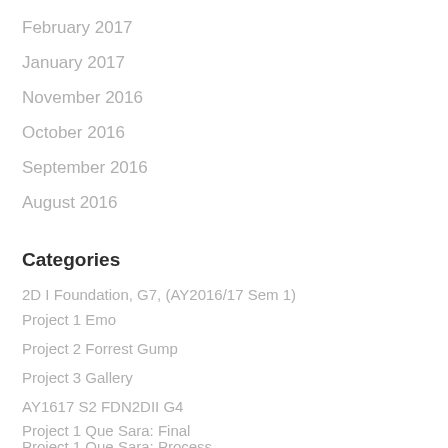February 2017
January 2017
November 2016
October 2016
September 2016
August 2016
Categories
2D I Foundation, G7, (AY2016/17 Sem 1)
Project 1 Emo
Project 2 Forrest Gump
Project 3 Gallery
AY1617 S2 FDN2DII G4
Project 1 Que Sara: Final
Project 1 Que Sara: Process